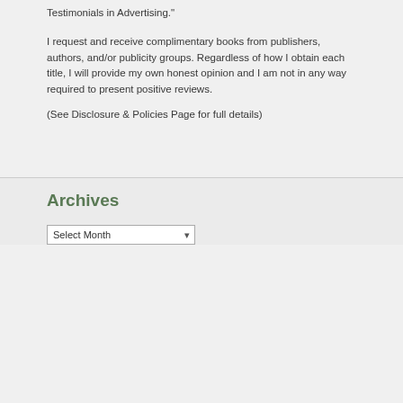Testimonials in Advertising."
I request and receive complimentary books from publishers, authors, and/or publicity groups. Regardless of how I obtain each title, I will provide my own honest opinion and I am not in any way required to present positive reviews.
(See Disclosure & Policies Page for full details)
Archives